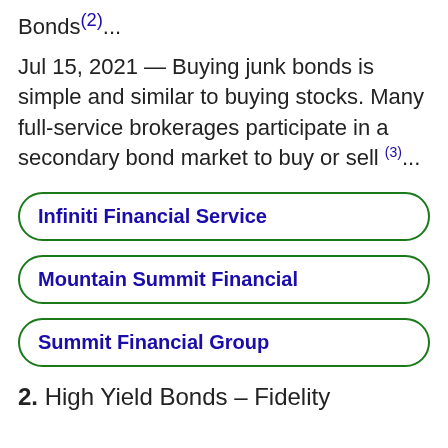Bonds(2)...
Jul 15, 2021 — Buying junk bonds is simple and similar to buying stocks. Many full-service brokerages participate in a secondary bond market to buy or sell (3)...
Infiniti Financial Service
Mountain Summit Financial
Summit Financial Group
2. High Yield Bonds – Fidelity